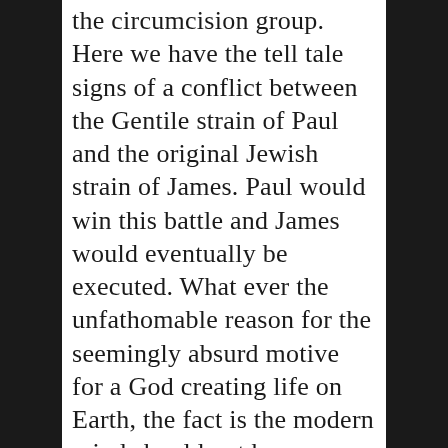the circumcision group. Here we have the tell tale signs of a conflict between the Gentile strain of Paul and the original Jewish strain of James. Paul would win this battle and James would eventually be executed. What ever the unfathomable reason for the seemingly absurd motive for a God creating life on Earth, the fact is the modern mind should not be condemned to eternal suffering for its inability to comprehend a message that has proven to be as fragile as the church that covets it. If anything Christianity has given nations the tool to amass vast armies and reek destruction on lesser cultures throughout its bloodthirsty history. To create Man with freedom of choice and then curse him for choosing the